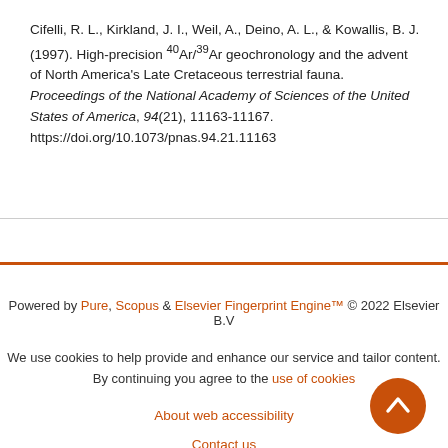Cifelli, R. L., Kirkland, J. I., Weil, A., Deino, A. L., & Kowallis, B. J. (1997). High-precision 40Ar/39Ar geochronology and the advent of North America's Late Cretaceous terrestrial fauna. Proceedings of the National Academy of Sciences of the United States of America, 94(21), 11163-11167. https://doi.org/10.1073/pnas.94.21.11163
Powered by Pure, Scopus & Elsevier Fingerprint Engine™ © 2022 Elsevier B.V
We use cookies to help provide and enhance our service and tailor content. By continuing you agree to the use of cookies
About web accessibility
Contact us